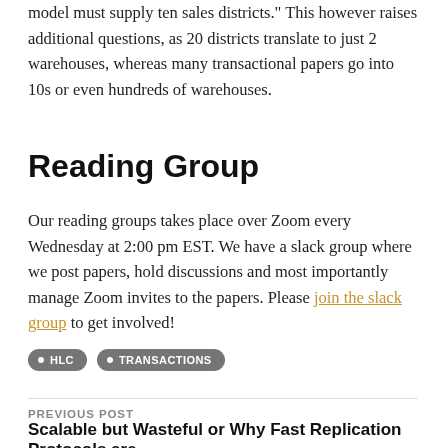model must supply ten sales districts." This however raises additional questions, as 20 districts translate to just 2 warehouses, whereas many transactional papers go into 10s or even hundreds of warehouses.
Reading Group
Our reading groups takes place over Zoom every Wednesday at 2:00 pm EST. We have a slack group where we post papers, hold discussions and most importantly manage Zoom invites to the papers. Please join the slack group to get involved!
HLC
TRANSACTIONS
PREVIOUS POST
Scalable but Wasteful or Why Fast Replication Protocols are